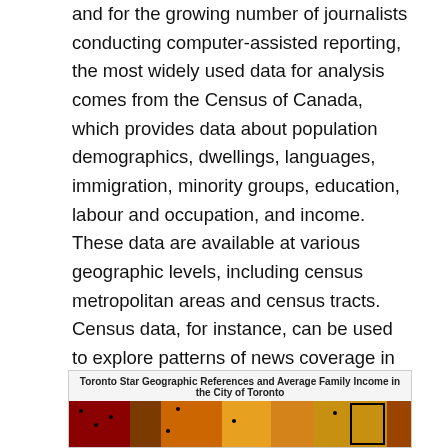and for the growing number of journalists conducting computer-assisted reporting, the most widely used data for analysis comes from the Census of Canada, which provides data about population demographics, dwellings, languages, immigration, minority groups, education, labour and occupation, and income. These data are available at various geographic levels, including census metropolitan areas and census tracts. Census data, for instance, can be used to explore patterns of news coverage in relation to income as illustrated in Figure 4, which combines Toronto Star news coverage with average family income by census tract.
[Figure (map): Toronto Star Geographic References and Average Family Income in the City of Toronto — a choropleth/map showing geographic distribution with dot markers overlaid on colored income-level zones]